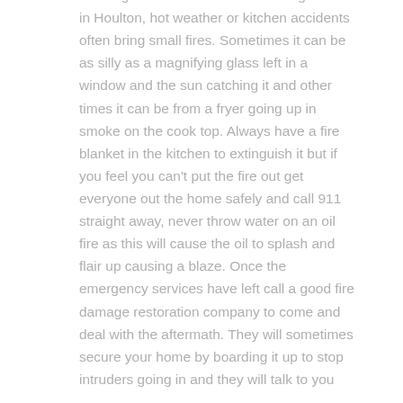You might also encounter fire damage here in Houlton, hot weather or kitchen accidents often bring small fires. Sometimes it can be as silly as a magnifying glass left in a window and the sun catching it and other times it can be from a fryer going up in smoke on the cook top. Always have a fire blanket in the kitchen to extinguish it but if you feel you can't put the fire out get everyone out the home safely and call 911 straight away, never throw water on an oil fire as this will cause the oil to splash and flair up causing a blaze. Once the emergency services have left call a good fire damage restoration company to come and deal with the aftermath. They will sometimes secure your home by boarding it up to stop intruders going in and they will talk to you about further steps.